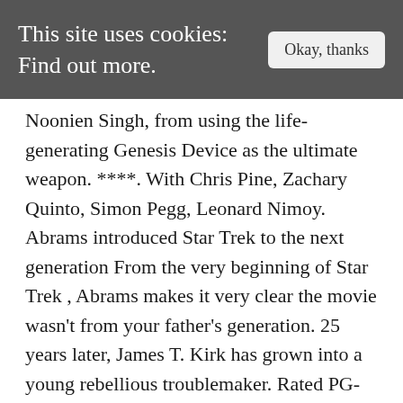This site uses cookies: Find out more. Okay, thanks
Noonien Singh, from using the life-generating Genesis Device as the ultimate weapon. ****. With Chris Pine, Zachary Quinto, Simon Pegg, Leonard Nimoy. Abrams introduced Star Trek to the next generation From the very beginning of Star Trek , Abrams makes it very clear the movie wasn't from your father's generation. 25 years later, James T. Kirk has grown into a young rebellious troublemaker. Rated PG-13 for sci-fi action and violence, and brief sexual content, Star Trek Needs Its Own Version of Star Wars' The Clone Wars. Oscar Nominations 2020: The